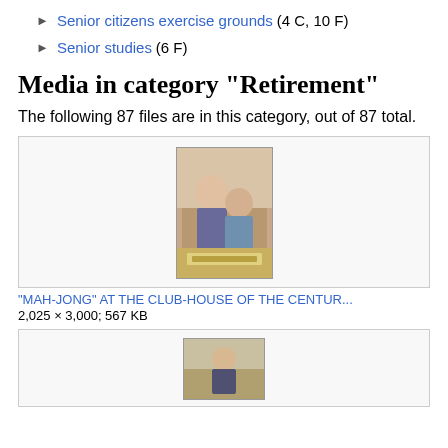Senior citizens exercise grounds (4 C, 10 F)
Senior studies (6 F)
Media in category "Retirement"
The following 87 files are in this category, out of 87 total.
[Figure (photo): Two elderly women playing mah-jong at a club-house table, vintage photograph]
"MAH-JONG" AT THE CLUB-HOUSE OF THE CENTUR...
2,025 × 3,000; 567 KB
[Figure (photo): Partial view of second photo thumbnail, cropped at bottom of page]